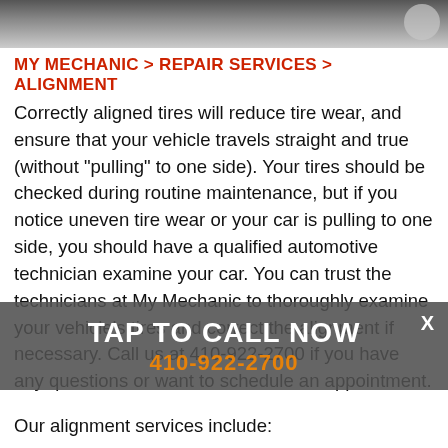[Figure (photo): Top image strip showing a dark background, partial vehicle or mechanic scene with a circular icon in the top right corner]
MY MECHANIC > REPAIR SERVICES > ALIGNMENT
Correctly aligned tires will reduce tire wear, and ensure that your vehicle travels straight and true (without "pulling" to one side). Your tires should be checked during routine maintenance, but if you notice uneven tire wear or your car is pulling to one side, you should have a qualified automotive technician examine your car. You can trust the technicians at My Mechanic to thoroughly examine your vehicle's tires and correct the alignment if necessary. Call us at 410-922-2700 if you have any questions or want to schedule an appointment.
[Figure (infographic): TAP TO CALL NOW overlay banner with phone number 410-922-2700 and a close X button]
Our alignment services include: